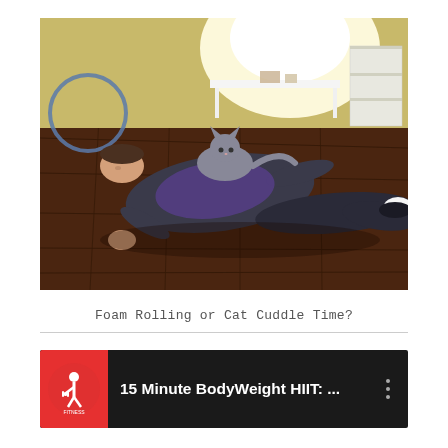[Figure (photo): Person lying flat on a hardwood floor with a grey cat sitting on their chest/stomach. The room has yellow walls, a white bench/table in the background, and a bookshelf on the right. The scene is brightly backlit from a window.]
Foam Rolling or Cat Cuddle Time?
[Figure (screenshot): YouTube video player bar with a red circular logo featuring a fitness figure on the left, and the title '15 Minute BodyWeight HIIT: ...' in white text on a dark background, with a three-dot menu icon on the right.]